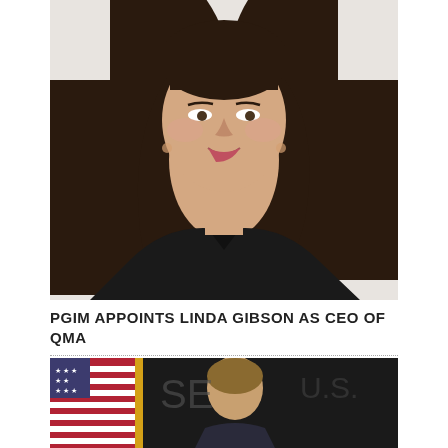[Figure (photo): Professional headshot of a woman with dark brown hair, wearing a black top, smiling, against a white background]
PGIM APPOINTS LINDA GIBSON AS CEO OF QMA
[Figure (photo): Portrait photo of a woman in front of an American flag, appears to be an official setting]